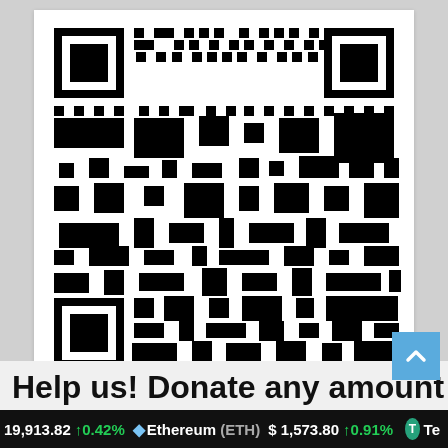[Figure (other): QR code for donation, black and white square matrix code on white background]
Help us! Donate any amount
19,913.82  ↑0.42%  ◆  Ethereum (ETH)  $ 1,573.80  ↑0.91%  T  Te